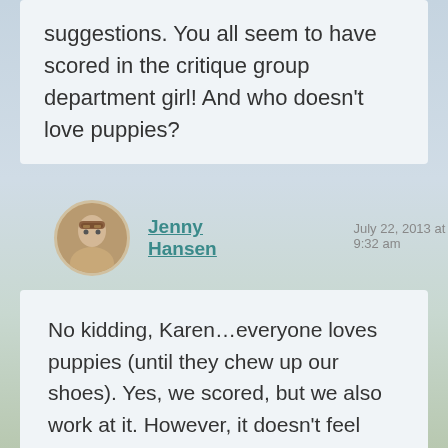suggestions. You all seem to have scored in the critique group department girl! And who doesn't love puppies?
Jenny Hansen
July 22, 2013 at 9:32 am
No kidding, Karen…everyone loves puppies (until they chew up our shoes). Yes, we scored, but we also work at it. However, it doesn't feel much like work with this crew.